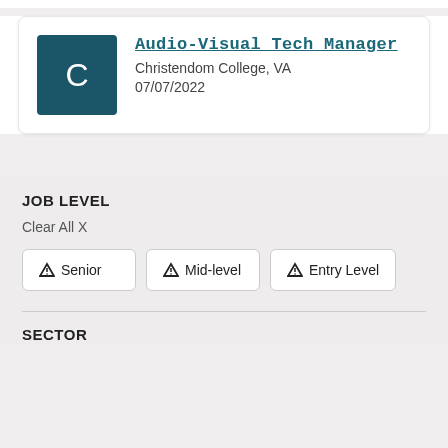Audio-Visual Tech Manager
Christendom College, VA
07/07/2022
JOB LEVEL
Clear All X
Senior
Mid-level
Entry Level
SECTOR